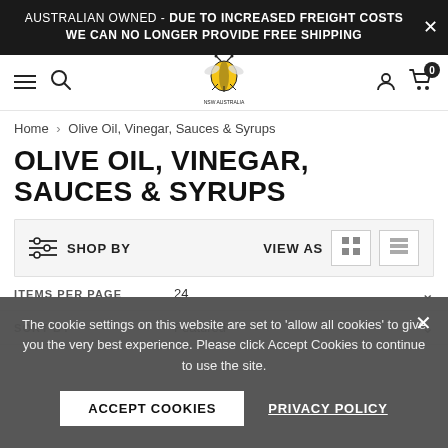AUSTRALIAN OWNED - DUE TO INCREASED FREIGHT COSTS WE CAN NO LONGER PROVIDE FREE SHIPPING
[Figure (logo): Bundaberg Honey House NSW Australia logo with cartoon bee character on honeycomb]
Home > Olive Oil, Vinegar, Sauces & Syrups
OLIVE OIL, VINEGAR, SAUCES & SYRUPS
SHOP BY | VIEW AS
ITEMS PER PAGE 24
SORT BY Featured
The cookie settings on this website are set to 'allow all cookies' to give you the very best experience. Please click Accept Cookies to continue to use the site.
ACCEPT COOKIES | PRIVACY POLICY